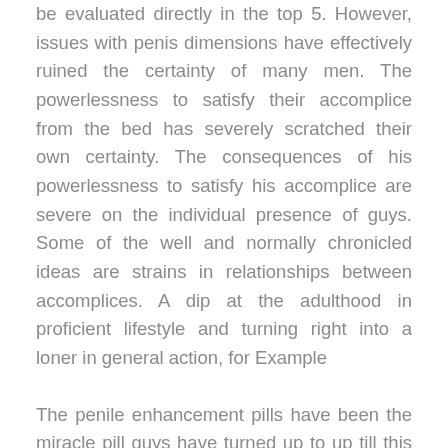be evaluated directly in the top 5. However, issues with penis dimensions have effectively ruined the certainty of many men. The powerlessness to satisfy their accomplice from the bed has severely scratched their own certainty. The consequences of his powerlessness to satisfy his accomplice are severe on the individual presence of guys. Some of the well and normally chronicled ideas are strains in relationships between accomplices. A dip at the adulthood in proficient lifestyle and turning right into a loner in general action, for Example
The penile enhancement pills have been the miracle pill guys have turned up to up till this stage. Male enhancement pills have overwhelmed the marketplace and also to the extent that the choice and quantity of tablets are believed, guys are spoilt for choice in fact. The manufacturers of those pills normally shout in the housetop, advancing the tablets that they make. A real penis structures industry has come around the problems